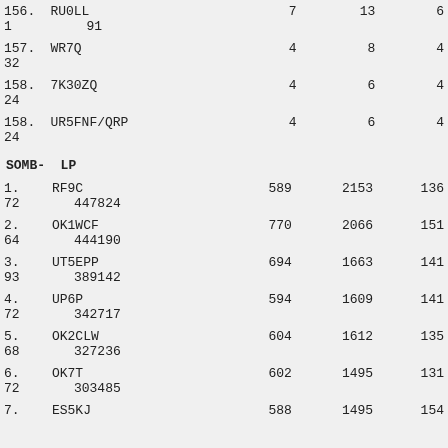| 156. | RU0LL | 7 | 13 | 6 |
| 1 | 91 |  |  |  |
| 157. | WR7Q | 4 | 8 | 4 |
| 32 |  |  |  |  |
| 158. | 7K30ZQ | 4 | 6 | 4 |
| 24 |  |  |  |  |
| 158. | UR5FNF/QRP | 4 | 6 | 4 |
| 24 |  |  |  |  |
SOMB- LP
| 1. | RF9C | 589 | 2153 | 136 |
| 72 | 447824 |  |  |  |
| 2. | OK1WCF | 770 | 2066 | 151 |
| 64 | 444190 |  |  |  |
| 3. | UT5EPP | 694 | 1663 | 141 |
| 93 | 389142 |  |  |  |
| 4. | UP6P | 594 | 1609 | 141 |
| 72 | 342717 |  |  |  |
| 5. | OK2CLW | 604 | 1612 | 135 |
| 68 | 327236 |  |  |  |
| 6. | OK7T | 602 | 1495 | 131 |
| 72 | 303485 |  |  |  |
| 7. | ES5KJ | 588 | 1495 | 154 |